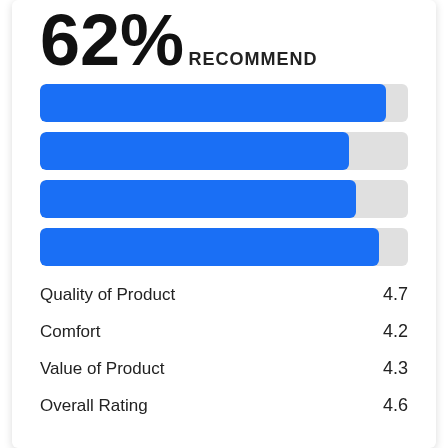62%
RECOMMEND
[Figure (bar-chart): Ratings]
Quality of Product  4.7
Comfort  4.2
Value of Product  4.3
Overall Rating  4.6
ABOUT US
Home
About us